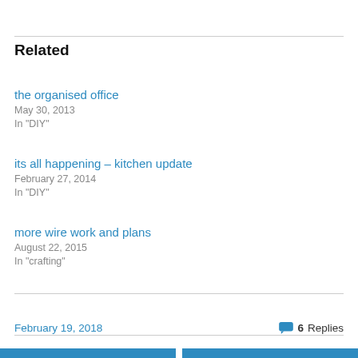Related
the organised office
May 30, 2013
In "DIY"
its all happening – kitchen update
February 27, 2014
In "DIY"
more wire work and plans
August 22, 2015
In "crafting"
February 19, 2018
6 Replies